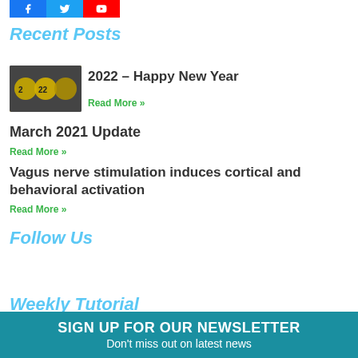[Figure (logo): Social media icons: Facebook (blue), Twitter (light blue), YouTube (red)]
Recent Posts
[Figure (photo): New Year 2022 golden balls]
2022 – Happy New Year
Read More »
March 2021 Update
Read More »
Vagus nerve stimulation induces cortical and behavioral activation
Read More »
Follow Us
Weekly Tutorial
SIGN UP FOR OUR NEWSLETTER
Don't miss out on latest news